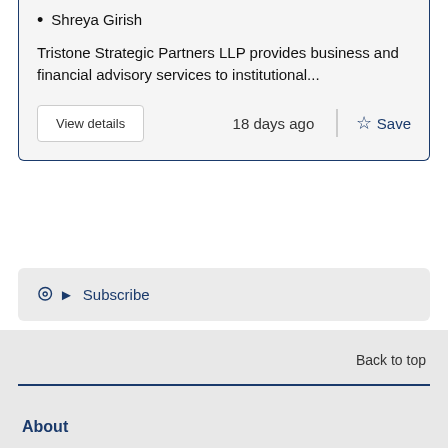Shreya Girish
Tristone Strategic Partners LLP provides business and financial advisory services to institutional...
View details
18 days ago
Save
Subscribe
Back to top
About